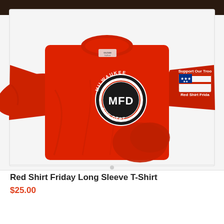[Figure (photo): Red long-sleeve t-shirt with Milwaukee Fire Dept (MFD) circular logo on the chest and a Support Our Troops / Red Shirt Friday American flag graphic on the sleeve. Gildan brand tag visible at neckline. Shirt is laid flat on a white surface with a dark background at the top of the photo.]
Red Shirt Friday Long Sleeve T-Shirt
$25.00